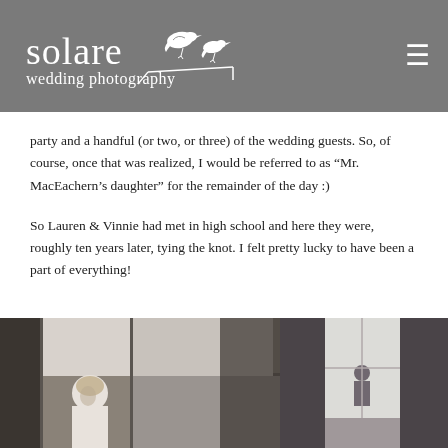solare wedding photography
party and a handful (or two, or three) of the wedding guests. So, of course, once that was realized, I would be referred to as “Mr. MacEachern’s daughter” for the remainder of the day :)
So Lauren & Vinnie had met in high school and here they were, roughly ten years later, tying the knot. I felt pretty lucky to have been a part of everything!
[Figure (photo): Black and white wedding preparation photos: left panel shows a bride looking down near a window, right panel shows a figure near a window with curtains]